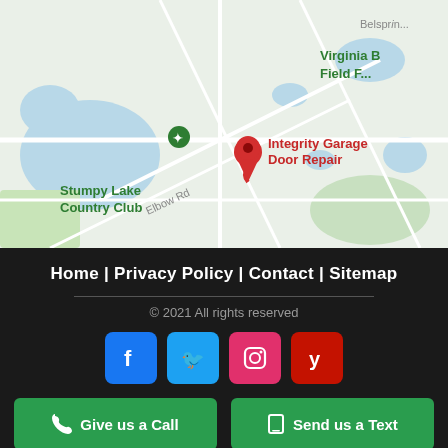[Figure (map): Google Maps screenshot showing the location of Integrity Garage Door Repair near Stumpy Lake Country Club, with road labels including Belspring and Elbow Rd, and Virginia Beach Field label partially visible in upper right.]
Home | Privacy Policy | Contact | Sitemap
© 2021 All rights reserved
[Figure (infographic): Row of four social media icons: Facebook (blue), Twitter (blue), Instagram (red/pink), Yelp (dark red)]
Give us a Call
Send us a Text